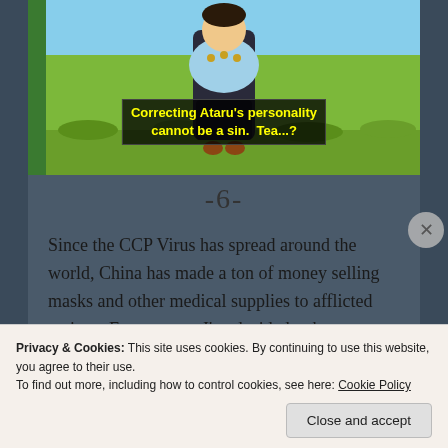[Figure (screenshot): Animated cartoon screenshot showing a character in traditional clothing standing in a green field. Yellow subtitle text reads: 'Correcting Ataru's personality cannot be a sin. Tea...?']
-6-
Since the CCP Virus has spread around the world, China has made a ton of money selling masks and other medical supplies to afflicted nations. For my part, I've decided to boycott Chinese tea until that government pays some kind of reparations for
Privacy & Cookies: This site uses cookies. By continuing to use this website, you agree to their use.
To find out more, including how to control cookies, see here: Cookie Policy
Close and accept